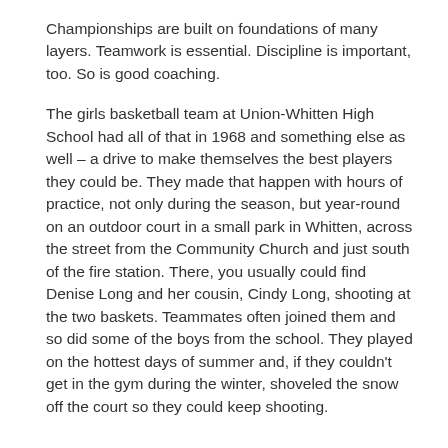Championships are built on foundations of many layers. Teamwork is essential. Discipline is important, too. So is good coaching.
The girls basketball team at Union-Whitten High School had all of that in 1968 and something else as well – a drive to make themselves the best players they could be. They made that happen with hours of practice, not only during the season, but year-round on an outdoor court in a small park in Whitten, across the street from the Community Church and just south of the fire station. There, you usually could find Denise Long and her cousin, Cindy Long, shooting at the two baskets. Teammates often joined them and so did some of the boys from the school. They played on the hottest days of summer and, if they couldn't get in the gym during the winter, shoveled the snow off the court so they could keep shooting.